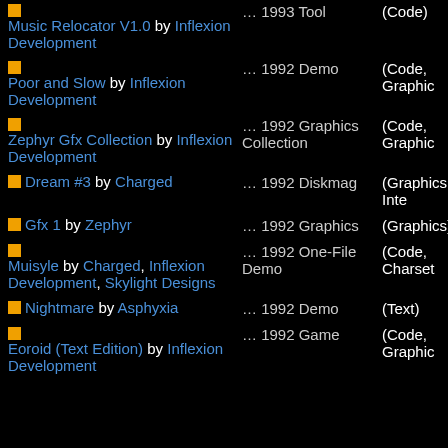Music Relocator V1.0 by Inflexion Development ... 1993 Tool (Code)
Poor and Slow by Inflexion Development ... 1992 Demo (Code, Graphics)
Zephyr Gfx Collection by Inflexion Development ... 1992 Graphics Collection (Code, Graphics)
Dream #3 by Charged ... 1992 Diskmag (Graphics, Intro)
Gfx 1 by Zephyr ... 1992 Graphics (Graphics)
Muisyle by Charged, Inflexion Development, Skylight Designs ... 1992 One-File Demo (Code, Charset)
Nightmare by Asphyxia ... 1992 Demo (Text)
Eoroid (Text Edition) by Inflexion Development ... 1992 Game (Code, Graphics)